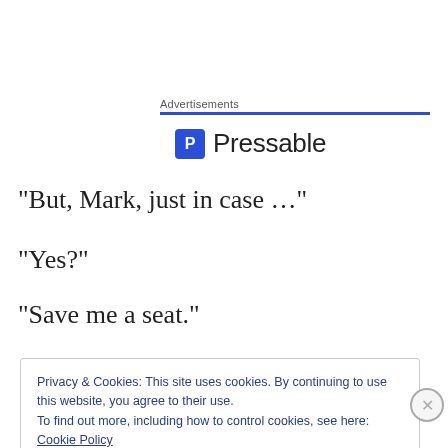Advertisements
[Figure (logo): Pressable logo with blue square P icon and text 'Pressable']
“But, Mark, just in case …”
“Yes?”
“Save me a seat.”
Privacy & Cookies: This site uses cookies. By continuing to use this website, you agree to their use.
To find out more, including how to control cookies, see here: Cookie Policy